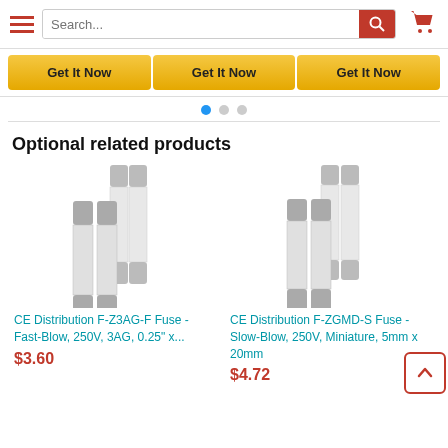Search bar with hamburger menu and cart icon
Get It Now | Get It Now | Get It Now
Optional related products
[Figure (photo): Glass fast-blow fuses, 250V 3AG]
CE Distribution F-Z3AG-F Fuse - Fast-Blow, 250V, 3AG, 0.25" x...
$3.60
[Figure (photo): Glass slow-blow miniature fuses, 250V, 5mm x 20mm]
CE Distribution F-ZGMD-S Fuse - Slow-Blow, 250V, Miniature, 5mm x 20mm
$4.72